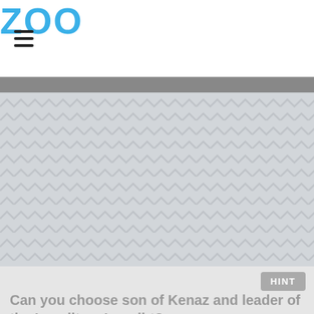ZOO
[Figure (illustration): Light gray placeholder image area with a repeating herringbone/chevron pattern in slightly darker gray lines, spanning the width of the page below a dark gray divider strip.]
HINT
Can you choose son of Kenaz and leader of the Israelites: Lenoiht?